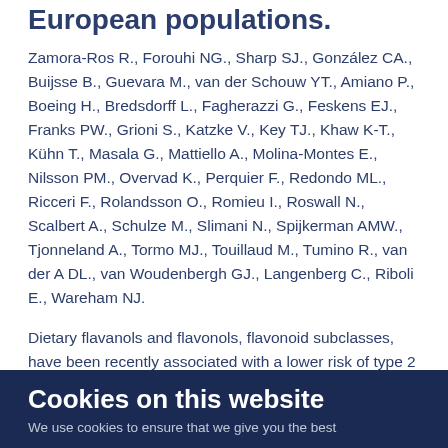European populations.
Zamora-Ros R., Forouhi NG., Sharp SJ., González CA., Buijsse B., Guevara M., van der Schouw YT., Amiano P., Boeing H., Bredsdorff L., Fagherazzi G., Feskens EJ., Franks PW., Grioni S., Katzke V., Key TJ., Khaw K-T., Kühn T., Masala G., Mattiello A., Molina-Montes E., Nilsson PM., Overvad K., Perquier F., Redondo ML., Ricceri F., Rolandsson O., Romieu I., Roswall N., Scalbert A., Schulze M., Slimani N., Spijkerman AMW., Tjonneland A., Tormo MJ., Touillaud M., Tumino R., van der A DL., van Woudenbergh GJ., Langenberg C., Riboli E., Wareham NJ.
Dietary flavanols and flavonols, flavonoid subclasses, have been recently associated with a lower risk of type 2 diabetes (T2D) in Europe. Even within the same subclass, flavonoids may differ considerably in bioavailability and bioactivity. We
Cookies on this website
We use cookies to ensure that we give you the best